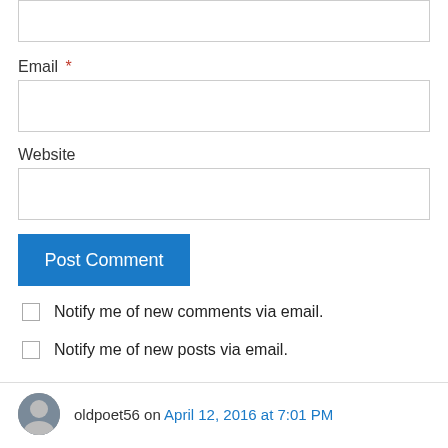[Input box — top, partial]
Email *
[Email input box]
Website
[Website input box]
Post Comment
Notify me of new comments via email.
Notify me of new posts via email.
oldpoet56 on April 12, 2016 at 7:01 PM